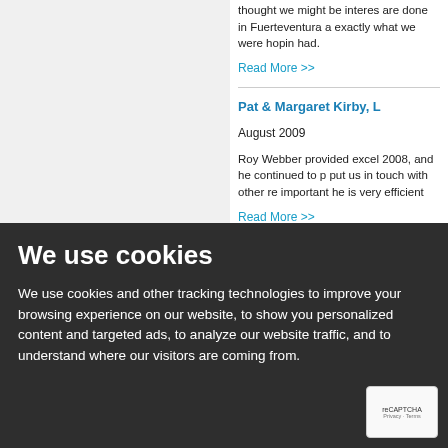thought we might be interested in are done in Fuerteventura and exactly what we were hoping had.
Read More >>
Pat & Margaret Kirby, L
August 2009
Roy Webber provided excel 2008, and he continued to p put us in touch with other re important he is very efficient
Read More >>
Gerry& Graham Bates
August 2009
when we decided to buy our
We use cookies
We use cookies and other tracking technologies to improve your browsing experience on our website, to show you personalized content and targeted ads, to analyze our website traffic, and to understand where our visitors are coming from.